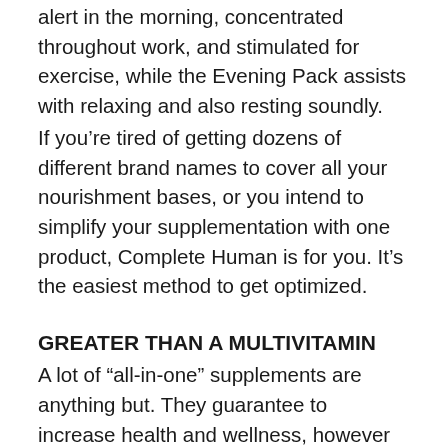alert in the morning, concentrated throughout work, and stimulated for exercise, while the Evening Pack assists with relaxing and also resting soundly.
If you're tired of getting dozens of different brand names to cover all your nourishment bases, or you intend to simplify your supplementation with one product, Complete Human is for you. It's the easiest method to get optimized.
GREATER THAN A MULTIVITAMIN
A lot of "all-in-one" supplements are anything but. They guarantee to increase health and wellness, however don't promote the feature of the general systems that support it– that's why you hear reports that "multivitamins don't work." All they're actually helpful for is filling out the nutritional void in a predicated, but not optimized,